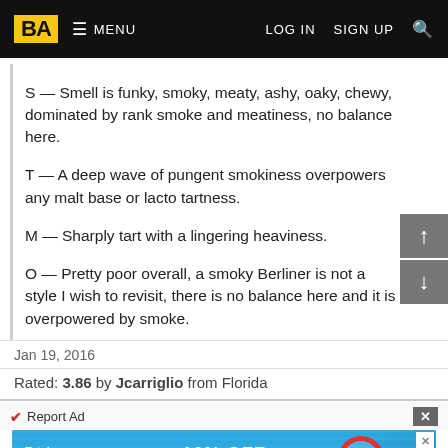BA | MENU | LOG IN | SIGN UP
S — Smell is funky, smoky, meaty, ashy, oaky, chewy, dominated by rank smoke and meatiness, no balance here.
T — A deep wave of pungent smokiness overpowers any malt base or lacto tartness.
M — Sharply tart with a lingering heaviness.
O — Pretty poor overall, a smoky Berliner is not a style I wish to revisit, there is no balance here and it is overpowered by smoke.
Jan 19, 2016
Rated: 3.86 by Jcarriglio from Florida
Report Ad
[Figure (screenshot): Advertisement banner for Total Wine showing 10% off beer packs offer with colorful water background and beer bottle graphics]